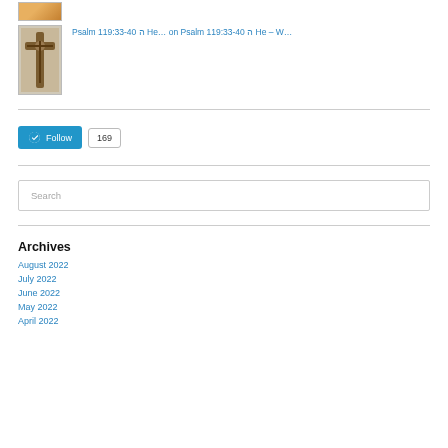[Figure (photo): Small avatar image at top, partially visible, person with yellow/gold tones]
Psalm 119:33-40 ה He… on Psalm 119:33-40 ה He – W…
[Figure (photo): Small square avatar with a cross/crucifix image on brown/stone background]
Follow button with WordPress logo and 169 follower count
Search
Archives
August 2022
July 2022
June 2022
May 2022
April 2022